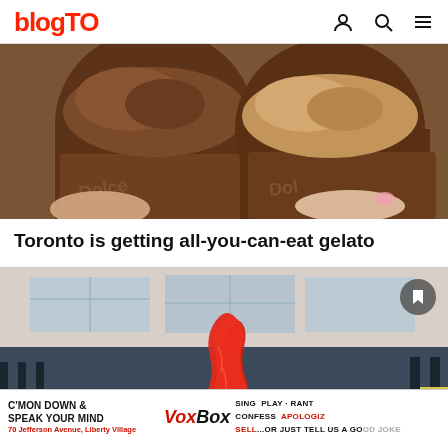blogTO
[Figure (photo): Two brown paper cups of gelato held in hands — one chocolate, one caramel/coffee flavour, with 'Dolce' branding on the cups]
Toronto is getting all-you-can-eat gelato
[Figure (photo): A red soft-serve ice cream swirl held in hand, in front of outdoor seating area, with bookmark icon overlay]
[Figure (infographic): VoxBox advertisement banner: C'MON DOWN & SPEAK YOUR MIND — VoxBox — SING PLAY · RANT CONFESS APOLOGIZE SELL...or just tell us a good joke — 70 Jefferson Avenue, Liberty Village]